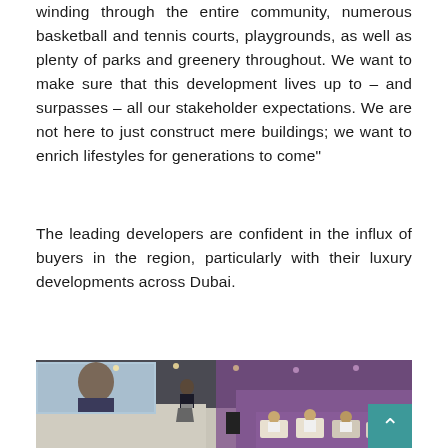winding through the entire community, numerous basketball and tennis courts, playgrounds, as well as plenty of parks and greenery throughout. We want to make sure that this development lives up to – and surpasses – all our stakeholder expectations. We are not here to just construct mere buildings; we want to enrich lifestyles for generations to come”
The leading developers are confident in the influx of buyers in the region, particularly with their luxury developments across Dubai.
[Figure (photo): A conference or exhibition event in a large hall with purple/violet ambient lighting. A speaker stands at a podium on a stage on the left, with a large screen behind showing a person's face. Audience members in white traditional dress sit in chairs and sofas facing the stage on the right side.]